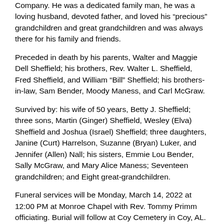Company. He was a dedicated family man, he was a loving husband, devoted father, and loved his “precious” grandchildren and great grandchildren and was always there for his family and friends.
Preceded in death by his parents, Walter and Maggie Dell Sheffield; his brothers, Rev. Walter L. Sheffield, Fred Sheffield, and William “Bill” Sheffield; his brothers-in-law, Sam Bender, Moody Maness, and Carl McGraw.
Survived by: his wife of 50 years, Betty J. Sheffield; three sons, Martin (Ginger) Sheffield, Wesley (Elva) Sheffield and Joshua (Israel) Sheffield; three daughters, Janine (Curt) Harrelson, Suzanne (Bryan) Luker, and Jennifer (Allen) Nall; his sisters, Emmie Lou Bender, Sally McGraw, and Mary Alice Maness; Seventeen grandchildren; and Eight great-grandchildren.
Funeral services will be Monday, March 14, 2022 at 12:00 PM at Monroe Chapel with Rev. Tommy Primm officiating. Burial will follow at Coy Cemetery in Coy, AL. Visitation will be on Monday, March 14th from 11:00 AM to 12:00 PM at Monroe Chapel.
The family is accepting flowers or contribution may be made to Coy Cemetery, c/o Community Neighbor Bank, Attn: Coy